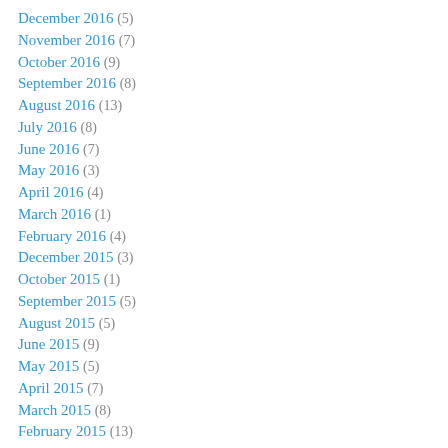December 2016 (5)
November 2016 (7)
October 2016 (9)
September 2016 (8)
August 2016 (13)
July 2016 (8)
June 2016 (7)
May 2016 (3)
April 2016 (4)
March 2016 (1)
February 2016 (4)
December 2015 (3)
October 2015 (1)
September 2015 (5)
August 2015 (5)
June 2015 (9)
May 2015 (5)
April 2015 (7)
March 2015 (8)
February 2015 (13)